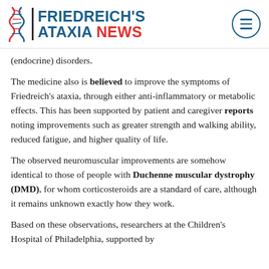FRIEDREICH'S ATAXIA NEWS
(endocrine) disorders.
The medicine also is believed to improve the symptoms of Friedreich’s ataxia, through either anti-inflammatory or metabolic effects. This has been supported by patient and caregiver reports noting improvements such as greater strength and walking ability, reduced fatigue, and higher quality of life.
The observed neuromuscular improvements are somehow identical to those of people with Duchenne muscular dystrophy (DMD), for whom corticosteroids are a standard of care, although it remains unknown exactly how they work.
Based on these observations, researchers at the Children’s Hospital of Philadelphia, supported by